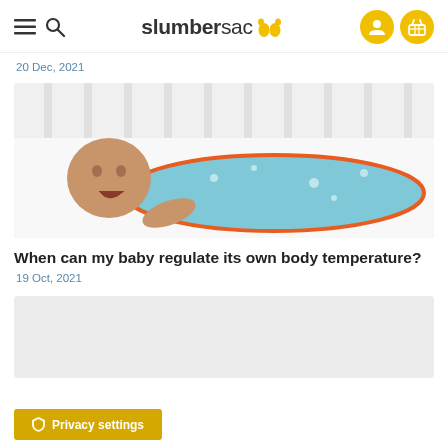slumbersac
20 Dec, 2021
[Figure (photo): A newborn baby wrapped in a light blue sleeping bag with illustrated animals, lying in a white crib, with mouth open]
When can my baby regulate its own body temperature?
19 Oct, 2021
[Figure (photo): Second article image (partially visible, light gray placeholder)]
Privacy settings